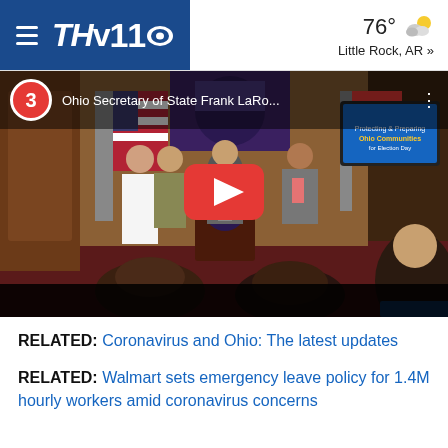THV11 CBS — 76° Little Rock, AR »
[Figure (screenshot): YouTube video thumbnail showing Ohio Secretary of State Frank LaRo... press conference with officials standing at a podium. Red play button overlay visible. Step 3 badge in top-left corner.]
RELATED: Coronavirus and Ohio: The latest updates
RELATED: Walmart sets emergency leave policy for 1.4M hourly workers amid coronavirus concerns